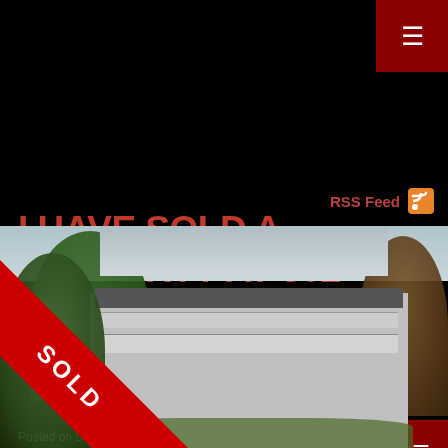☰ (menu button)
RSS Feed
I HAVE SOLD A PROPERTY AT 302 1273 MERKLIN ST IN WHITE ROCK
Posted on December 31, 2021 by Sam Veltri
Posted in: White Rock, South Surrey White Rock Real Estate
[Figure (photo): Exterior photo of a multi-storey residential building with trees and foliage, showing a red SOLD ribbon banner overlay in the bottom-left corner]